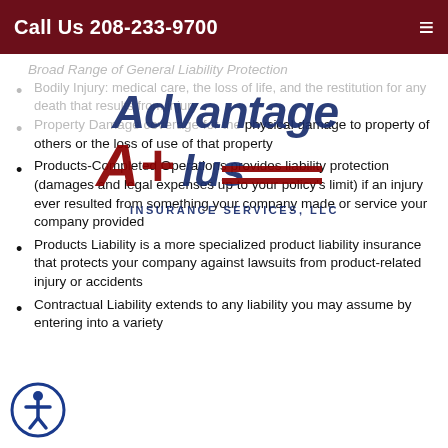Call Us 208-233-9700
Broad Range of General Liability Protection
[Figure (logo): Advantage Plus Insurance Services LLC logo]
Bodily Injury: medical care, the loss of life, and the restitution for any death that results from injury
Property Damage coverage for the physical damage to property of others or the loss of use of that property
Products-Completed Operations provides liability protection (damages and legal expenses up to your policy's limit) if an injury ever resulted from something your company made or service your company provided
Products Liability is a more specialized product liability insurance that protects your company against lawsuits from product-related injury or accidents
Contractual Liability extends to any liability you may assume by entering into a variety